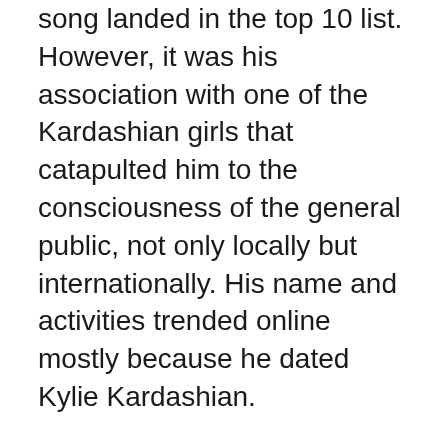song landed in the top 10 list. However, it was his association with one of the Kardashian girls that catapulted him to the consciousness of the general public, not only locally but internationally. His name and activities trended online mostly because he dated Kylie Kardashian.
Tyga (Thank You God Always) was born Michael Ray Stevenson on 19 November 1989, in Compton, California, to Vietnamese and Jamaican parents, and was raised in Gardena. As a kid, he was exposed to rap music largely because of his cousin Travis McCoy, who was with the rap/rock band called Gym Class Heroes. He then became an avid listener to successful rapper artists Eminem, Fabolous, and Cam'ron and was inspired by